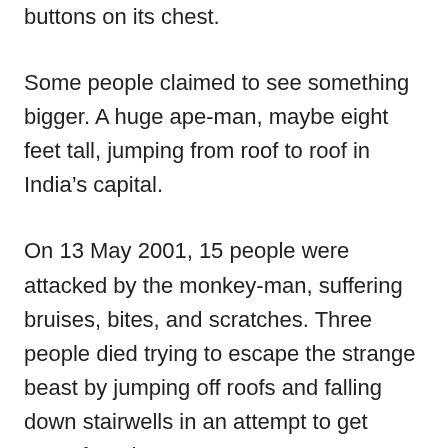buttons on its chest.
Some people claimed to see something bigger. A huge ape-man, maybe eight feet tall, jumping from roof to roof in India’s capital.
On 13 May 2001, 15 people were attacked by the monkey-man, suffering bruises, bites, and scratches. Three people died trying to escape the strange beast by jumping off roofs and falling down stairwells in an attempt to get away from it.
More sightings in 2002 describe the monkey-man as being a monkey-like machine that sparked with